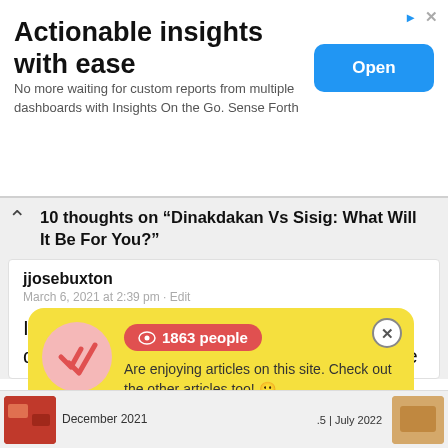[Figure (screenshot): Advertisement banner: 'Actionable insights with ease' with Open button]
10 thoughts on “Dinakdakan Vs Sisig: What Will It Be For You?”
jjosebuxton
March 6, 2021 at 2:39 pm · Edit

I agree that the Philippines has many delicious dishes to be proud of. So, please
[Figure (infographic): Yellow popup notification: 1863 people are enjoying articles on this site. Check out the other articles too! Verified by Provely]
December 2021
.5 | July 2022